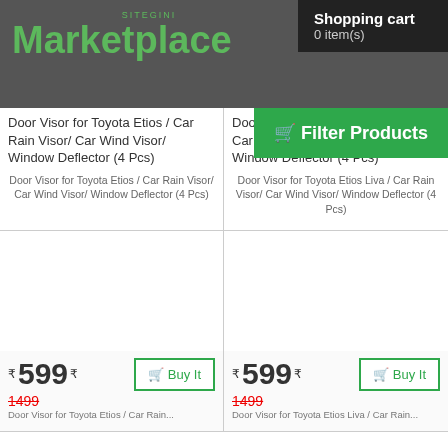SITEGINI Marketplace | Shopping cart 0 item(s)
Door Visor for Toyota Etios / Car Rain Visor/ Car Wind Visor/ Window Deflector (4 Pcs)
Door Visor for Toyota Etios Liva / Car Rain Visor/ Car Wind Visor/ Window Deflector (4 Pcs)
Door Visor for Toyota Etios / Car Rain Visor/ Car Wind Visor/ Window Deflector (4 Pcs)
Door Visor for Toyota Etios Liva / Car Rain Visor/ Car Wind Visor/ Window Deflector (4 Pcs)
Filter Products
₹ 599 ₹
1499
₹ 599 ₹
1499